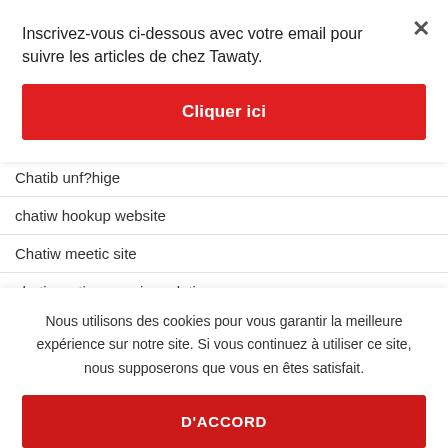Inscrivez-vous ci-dessous avec votre email pour suivre les articles de chez Tawaty.
Cliquer ici
Chatib unf?hige
chatiw hookup website
Chatiw meetic site
chatiw native american dating
Chatiw review
Nous utilisons des cookies pour vous garantir la meilleure expérience sur notre site. Si vous continuez à utiliser ce site, nous supposerons que vous en êtes satisfait.
D'ACCORD
chatiw visitors